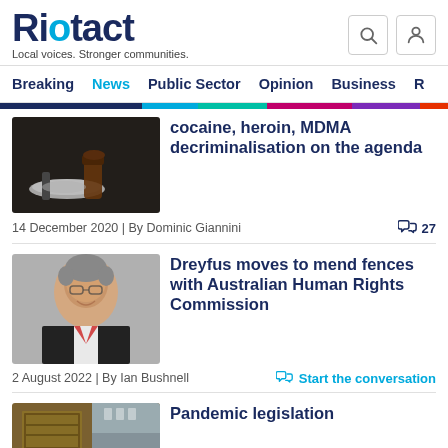Riotact – Local voices. Stronger communities.
Breaking  News  Public Sector  Opinion  Business  R...
[Figure (photo): Close-up photo of drugs including white powder and a small brown bottle on a dark surface]
cocaine, heroin, MDMA decriminalisation on the agenda
14 December 2020 | By Dominic Giannini
27 comments
[Figure (photo): Headshot of an older man with glasses wearing a suit, smiling]
Dreyfus moves to mend fences with Australian Human Rights Commission
2 August 2022 | By Ian Bushnell
Start the conversation
[Figure (photo): Partial view of a building exterior]
Pandemic legislation